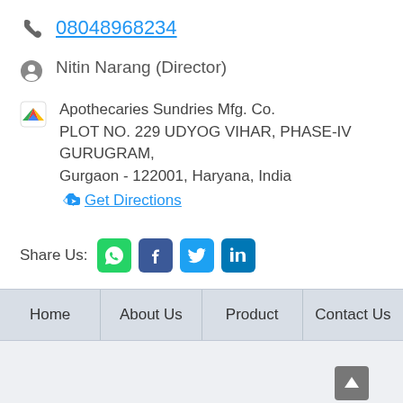08048968234
Nitin Narang (Director)
Apothecaries Sundries Mfg. Co. PLOT NO. 229 UDYOG VIHAR, PHASE-IV GURUGRAM, Gurgaon - 122001, Haryana, India
Get Directions
Share Us:
Home | About Us | Product Range | Contact Us
Back To Top